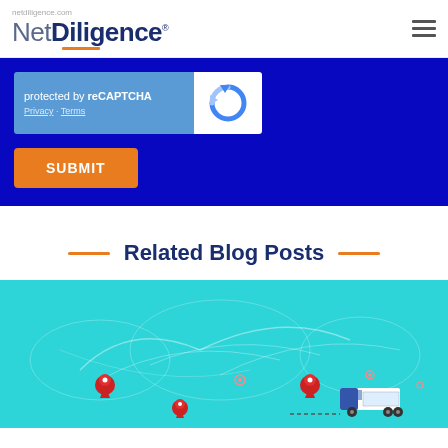NetDiligence®
protected by reCAPTCHA
Privacy · Terms
SUBMIT
Related Blog Posts
[Figure (illustration): World map supply chain illustration with location pins and a truck on a teal/cyan background]